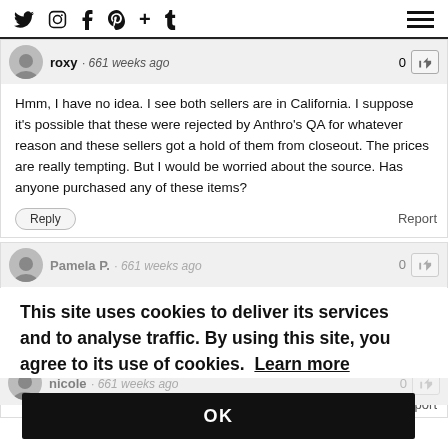Social media icons: Twitter, Instagram, Facebook, Pinterest, +, Tumblr; hamburger menu
roxy · 661 weeks ago — vote: 0
Hmm, I have no idea. I see both sellers are in California. I suppose it's possible that these were rejected by Anthro's QA for whatever reason and these sellers got a hold of them from closeout. The prices are really tempting. But I would be worried about the source. Has anyone purchased any of these items?
Reply | Report
Pamela P. · 661 weeks ago — vote: 0
Roxy- thank you so much for calling this along! As much and love it, the dress has been quite a challenge for me, but your ideas are wonderful!! I appreciate you...
Report
This site uses cookies to deliver its services and to analyse traffic. By using this site, you agree to its use of cookies. Learn more
OK
nicole · 661 weeks ago — vote: 0
thanks for posting this styling- I keep mulling over buying this dress and then not doing it because I'm never sure how I'd end up wearing it.